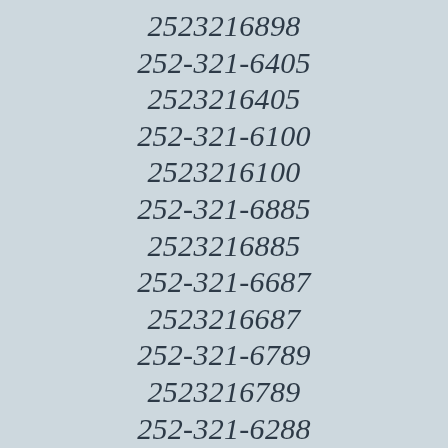2523216898
252-321-6405
2523216405
252-321-6100
2523216100
252-321-6885
2523216885
252-321-6687
2523216687
252-321-6789
2523216789
252-321-6288
2523216288
252-321-6273
2523216273
252-321-6646